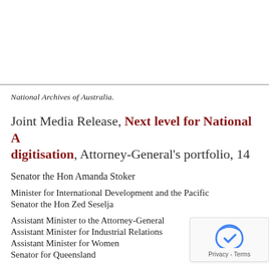National Archives of Australia.
Joint Media Release, Next level for National Archives digitisation, Attorney-General's portfolio, 14...
Senator the Hon Amanda Stoker
Minister for International Development and the Pacific
Senator the Hon Zed Seselja
Assistant Minister to the Attorney-General
Assistant Minister for Industrial Relations
Assistant Minister for Women
Senator for Queensland